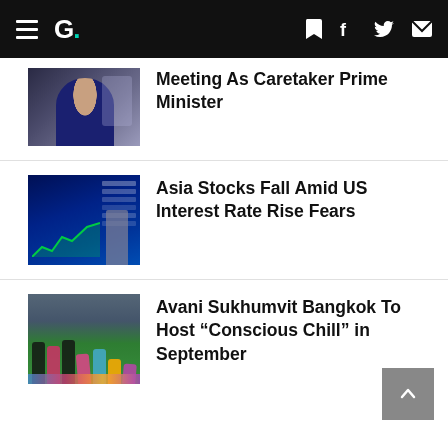G. [navigation header with hamburger menu, logo, bookmark, facebook, twitter, mail icons]
[Figure (photo): Partial view of a man in a dark suit with a light blue tie, with other people in background]
Meeting As Caretaker Prime Minister
[Figure (photo): A stock market display board showing green candlestick chart with a person walking past in a grey coat]
Asia Stocks Fall Amid US Interest Rate Rise Fears
[Figure (photo): Group of women doing yoga poses on green grass outdoors]
Avani Sukhumvit Bangkok To Host “Conscious Chill” in September